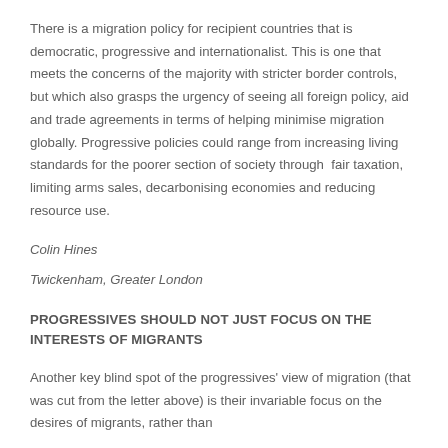There is a migration policy for recipient countries that is democratic, progressive and internationalist. This is one that meets the concerns of the majority with stricter border controls, but which also grasps the urgency of seeing all foreign policy, aid and trade agreements in terms of helping minimise migration globally. Progressive policies could range from increasing living standards for the poorer section of society through  fair taxation, limiting arms sales, decarbonising economies and reducing resource use.
Colin Hines
Twickenham, Greater London
PROGRESSIVES SHOULD NOT JUST FOCUS ON THE INTERESTS OF MIGRANTS
Another key blind spot of the progressives' view of migration (that was cut from the letter above) is their invariable focus on the desires of migrants, rather than